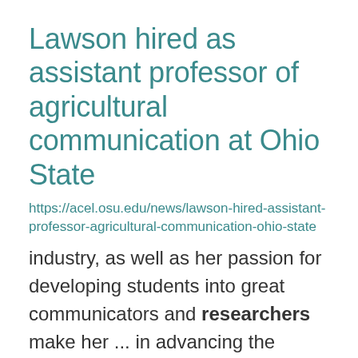Lawson hired as assistant professor of agricultural communication at Ohio State
https://acel.osu.edu/news/lawson-hired-assistant-professor-agricultural-communication-ohio-state
industry, as well as her passion for developing students into great communicators and researchers make her ... in advancing the agricultural communication program through teaching and research by teaching ... forward to engaging students and stakeholders in teaching and research opportunities," said Lawson. Lawson ...